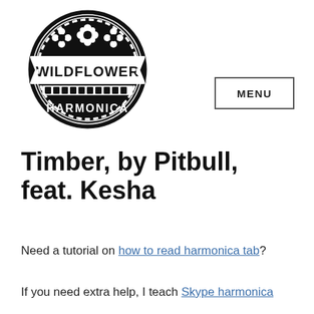[Figure (logo): Wildflower Harmonica circular logo in black and white with three flowers and a harmonica graphic, text reading WILDFLOWER HARMONICA]
MENU
Timber, by Pitbull, feat. Kesha
Need a tutorial on how to read harmonica tab?
If you need extra help, I teach Skype harmonica lessons.